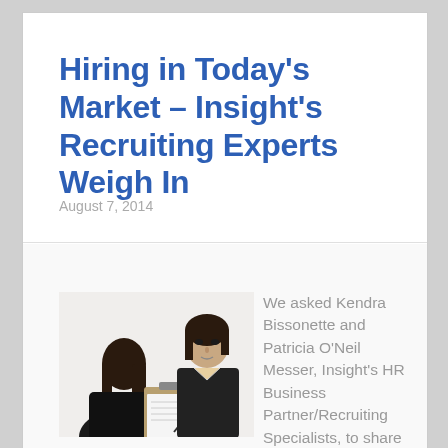Hiring in Today's Market – Insight's Recruiting Experts Weigh In
August 7, 2014
[Figure (photo): Two women in a job interview setting; one woman with dark short hair in a black blazer faces the camera while another woman with long dark hair sits with her back to the camera, holding a clipboard with paper]
We asked Kendra Bissonette and Patricia O'Neil Messer, Insight's HR Business Partner/Recruiting Specialists, to share their insider